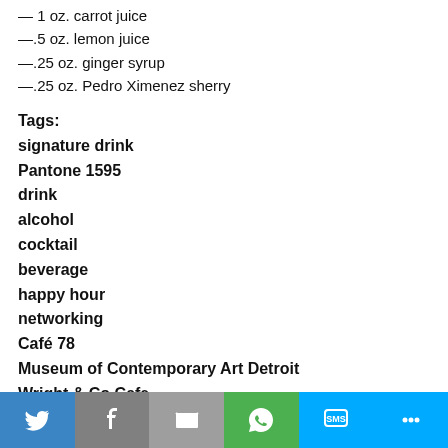— 1 oz. carrot juice
—.5 oz. lemon juice
—.25 oz. ginger syrup
—.25 oz. Pedro Ximenez sherry
Tags: signature drink
Pantone 1595
drink
alcohol
cocktail
beverage
happy hour
networking
Café 78
Museum of Contemporary Art Detroit
Wright & Co Cafe
General Manager Chris Vanderginst
gin
Pedro Ximenez sherry
Detroit